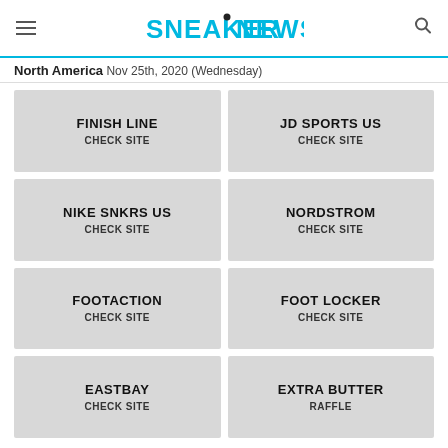SNEAKER NEWS
North America Nov 25th, 2020 (Wednesday)
FINISH LINE
CHECK SITE
JD SPORTS US
CHECK SITE
NIKE SNKRS US
CHECK SITE
NORDSTROM
CHECK SITE
FOOTACTION
CHECK SITE
FOOT LOCKER
CHECK SITE
EASTBAY
CHECK SITE
EXTRA BUTTER
RAFFLE